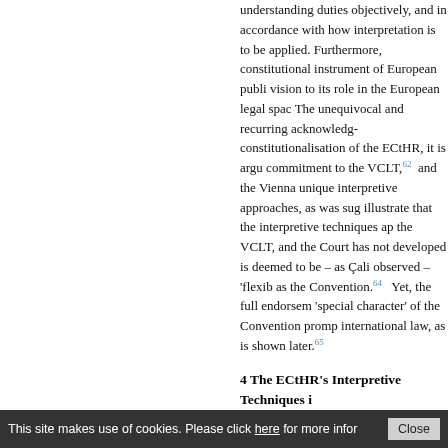understanding duties objectively, and in accordance with how interpretation is to be applied. Furthermore, the ECHR as a constitutional instrument of European public law gave a new vision to its role in the European legal space. The unequivocal and recurring acknowledgment of the constitutionalisation of the ECtHR, it is argued, shows its commitment to the VCLT,62 and the Vienna rules do not limit unique interpretive approaches, as was suggested. Cases illustrate that the interpretive techniques applied do not violate the VCLT, and the Court has not developed a body of law that is deemed to be – as Çali observed – 'flexible' in areas such as the Convention.64 Yet, the full endorsement of the 'special character' of the Convention prompted departures from international law, as is shown later.65
4 The ECtHR's Interpretive Techniques i
4.1 Textual Interpretation: Reliance on the C
According to Article 31(1) of the VCLT, esta point' of the interpretive process and it is no explicitly relied on the ordinary meaning of Convention. However, oftentimes the resul evident and judgments do not devote lengt instance, in Luedicke, Belkacem and Koc v
This site makes use of cookies. Please click here for more infor Close